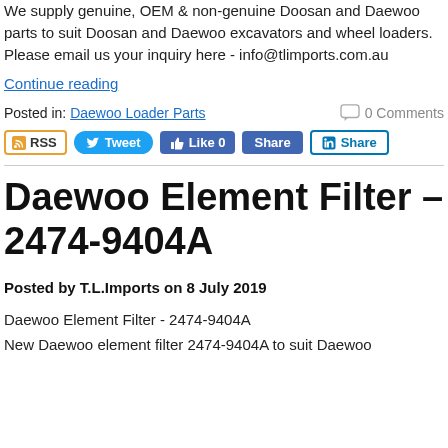We supply genuine, OEM & non-genuine Doosan and Daewoo parts to suit Doosan and Daewoo excavators and wheel loaders. Please email us your inquiry here - info@tlimports.com.au
Continue reading
Posted in: Daewoo Loader Parts    0 Comments
RSS  Tweet  Like 0  Share  Share
Daewoo Element Filter – 2474-9404A
Posted by T.L.Imports on 8 July 2019
Daewoo Element Filter - 2474-9404A
New Daewoo element filter 2474-9404A to suit Daewoo